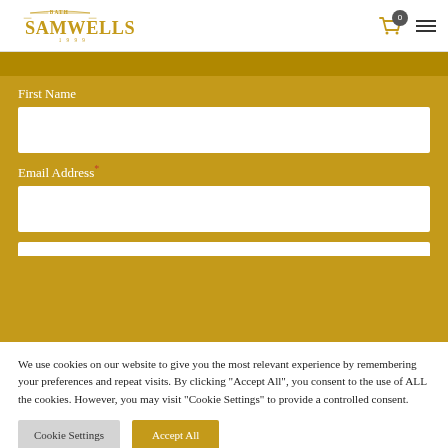Bath Samwells 1999
First Name
Email Address *
We use cookies on our website to give you the most relevant experience by remembering your preferences and repeat visits. By clicking “Accept All”, you consent to the use of ALL the cookies. However, you may visit “Cookie Settings” to provide a controlled consent.
Cookie Settings
Accept All